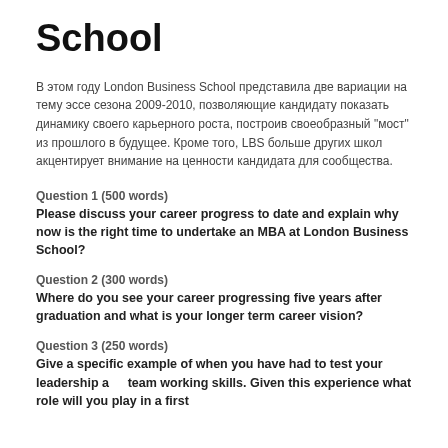School
В этом году London Business School представила две вариации на тему эссе сезона 2009-2010, позволяющие кандидату показать динамику своего карьерного роста, построив своеобразный "мост" из прошлого в будущее. Кроме того, LBS больше других школ акцентирует внимание на ценности кандидата для сообщества.
Question 1 (500 words)
Please discuss your career progress to date and explain why now is the right time to undertake an MBA at London Business School?
Question 2 (300 words)
Where do you see your career progressing five years after graduation and what is your longer term career vision?
Question 3 (250 words)
Give a specific example of when you have had to test your leadership and team working skills. Given this experience what role will you play in a first